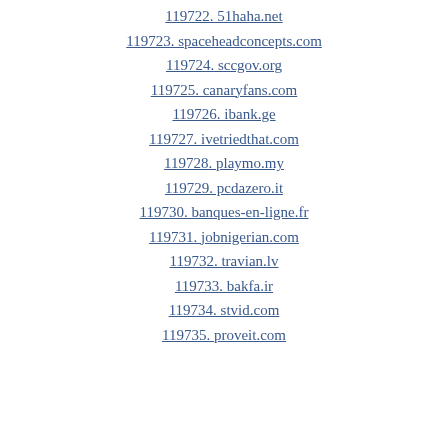119722. 51haha.net
119723. spaceheadconcepts.com
119724. sccgov.org
119725. canaryfans.com
119726. ibank.ge
119727. ivetriedthat.com
119728. playmo.my
119729. pcdazero.it
119730. banques-en-ligne.fr
119731. jobnigerian.com
119732. travian.lv
119733. bakfa.ir
119734. stvid.com
119735. proveit.com